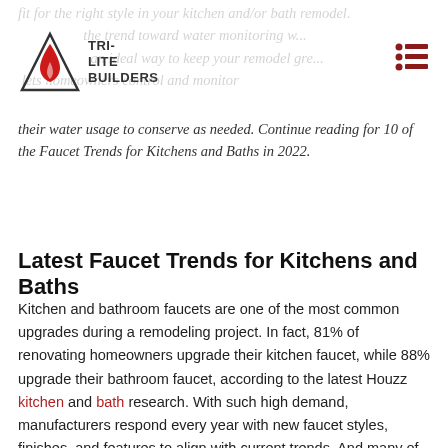Tri-Lite Builders
fit for the right style in your kitchen and/or bath remodel. the trend toward water monitoring w... an ideal way to keep your remodel gre... lets homeowners control and monitor their water usage to conserve as needed. Continue reading for 10 of the Faucet Trends for Kitchens and Baths in 2022.
Latest Faucet Trends for Kitchens and Baths
Kitchen and bathroom faucets are one of the most common upgrades during a remodeling project. In fact, 81% of renovating homeowners upgrade their kitchen faucet, while 88% upgrade their bathroom faucet, according to the latest Houzz kitchen and bath research. With such high demand, manufacturers respond every year with new faucet styles, finishes, and features to align with current trends. And many of those manufacturers use the Kitchen & Bath Industry Show to launch their new faucet collections. Here's a snapshot of fresh faucets that debuted this month at the 2022 trade show in Orlando,